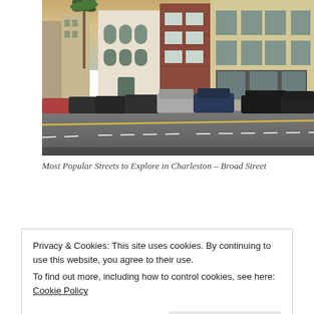[Figure (photo): Street-level photo of Broad Street in Charleston, SC. Historic multi-story brick and stucco commercial buildings line the right side, with palm trees and parked cars along the street. Overcast/sunset sky visible in the background.]
Most Popular Streets to Explore in Charleston – Broad Street
Church Street
Privacy & Cookies: This site uses cookies. By continuing to use this website, you agree to their use.
To find out more, including how to control cookies, see here: Cookie Policy
Heyward, author of Porgy.